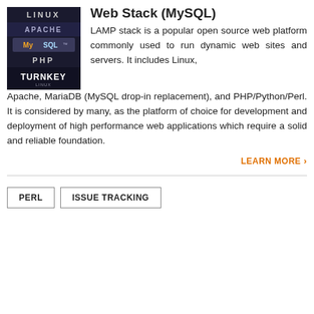[Figure (logo): TurnKey Linux LAMP stack logo showing Linux, Apache, MySQL, PHP, TurnKey branding on dark background]
Web Stack (MySQL)
LAMP stack is a popular open source web platform commonly used to run dynamic web sites and servers. It includes Linux, Apache, MariaDB (MySQL drop-in replacement), and PHP/Python/Perl. It is considered by many, as the platform of choice for development and deployment of high performance web applications which require a solid and reliable foundation.
LEARN MORE >
PERL
ISSUE TRACKING